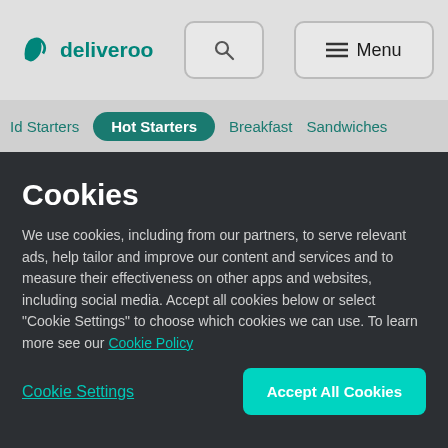[Figure (logo): Deliveroo logo with kangaroo icon and search button and Menu button in header]
Id Starters | Hot Starters | Breakfast | Sandwiches
Cookies
We use cookies, including from our partners, to serve relevant ads, help tailor and improve our content and services and to measure their effectiveness on other apps and websites, including social media. Accept all cookies below or select “Cookie Settings” to choose which cookies we can use. To learn more see our Cookie Policy
Cookie Settings
Accept All Cookies